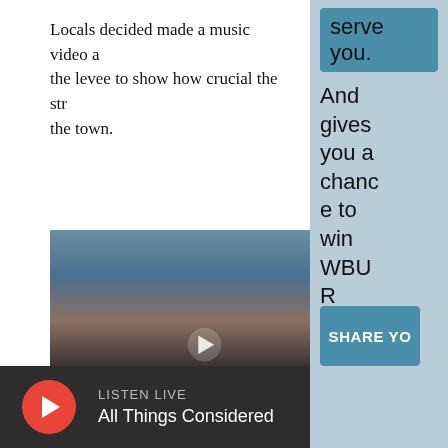Locals decided made a music video at the levee to show how crucial the structure is to the town.
[Figure (photo): Outdoor street scene with a crowd of people dancing or gathered, with brick buildings in background. A video play button overlay is visible in the center.]
serve you. And gives you a chance to win WBUR swag!
SHARE YO
LISTEN LIVE
All Things Considered